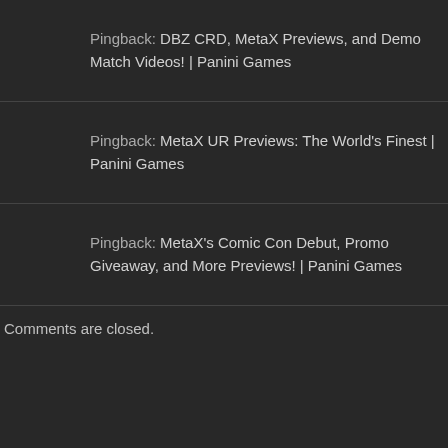Pingback: DBZ CRD, MetaX Previews, and Demo Match Videos! | Panini Games
Pingback: MetaX UR Previews: The World's Finest | Panini Games
Pingback: MetaX's Comic Con Debut, Promo Giveaway, and More Previews! | Panini Games
Comments are closed.